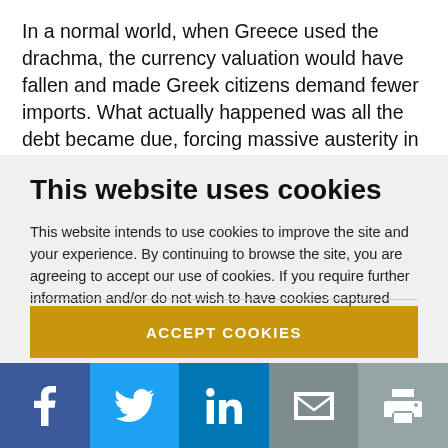In a normal world, when Greece used the drachma, the currency valuation would have fallen and made Greek citizens demand fewer imports. What actually happened was all the debt became due, forcing massive austerity in a kind of shadow devaluation. It was simply brutal.
This website uses cookies
This website intends to use cookies to improve the site and your experience. By continuing to browse the site, you are agreeing to accept our use of cookies. If you require further information and/or do not wish to have cookies captured when using the site, visit our Privacy Policy.
ACCEPT COOKIES